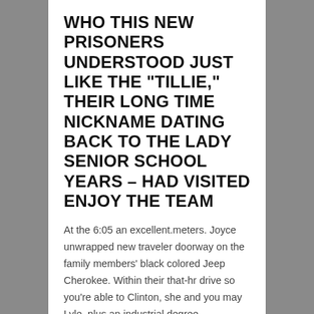WHO THIS NEW PRISONERS UNDERSTOOD JUST LIKE THE “TILLIE,” THEIR LONG TIME NICKNAME DATING BACK TO THE LADY SENIOR SCHOOL YEARS – HAD VISITED ENJOY THE TEAM
At the 6:05 an excellent.meters. Joyce unwrapped new traveler doorway on the family members’ black colored Jeep Cherokee. Within their that-hr drive so you’re able to Clinton, she and you may Lyle, plus an industrial degree management at prison, often talked about their children, its grandkids, as well as the day ahead. Now, however, Joyce closed the lady attention and you can leaned straight back against the chair.
Due to the fact Matt first told the woman